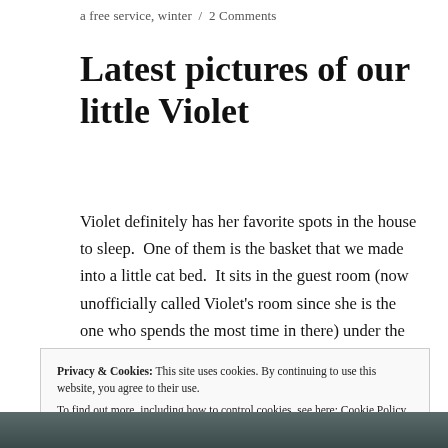a free service, winter / 2 Comments
Latest pictures of our little Violet
Violet definitely has her favorite spots in the house to sleep.  One of them is the basket that we made into a little cat bed.  It sits in the guest room (now unofficially called Violet's room since she is the one who spends the most time in there) under the window.
Privacy & Cookies: This site uses cookies. By continuing to use this website, you agree to their use.
To find out more, including how to control cookies, see here: Cookie Policy
[Figure (photo): Bottom strip of a photo partially visible at the bottom of the page, dark teal/grey tones]